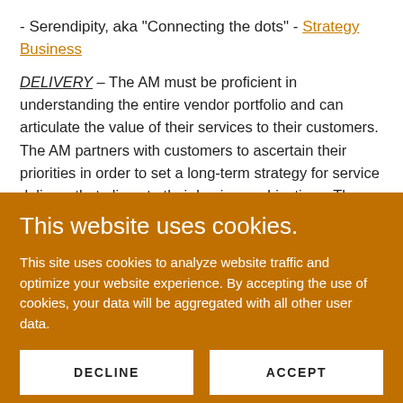- Serendipity, aka "Connecting the dots" - Strategy Business
DELIVERY – The AM must be proficient in understanding the entire vendor portfolio and can articulate the value of their services to their customers. The AM partners with customers to ascertain their priorities in order to set a long-term strategy for service delivery that aligns to their business objectives. The AM must be literate and
This website uses cookies.
This site uses cookies to analyze website traffic and optimize your website experience. By accepting the use of cookies, your data will be aggregated with all other user data.
DECLINE | ACCEPT